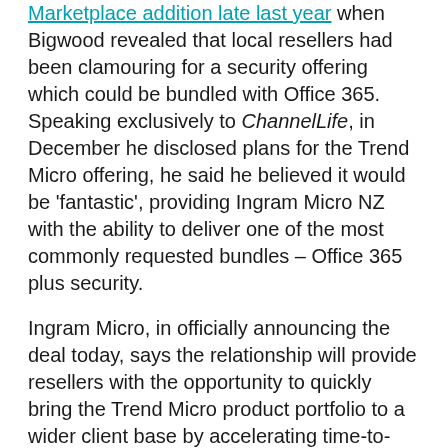Marketplace addition late last year when Bigwood revealed that local resellers had been clamouring for a security offering which could be bundled with Office 365. Speaking exclusively to ChannelLife, in December he disclosed plans for the Trend Micro offering, he said he believed it would be 'fantastic', providing Ingram Micro NZ with the ability to deliver one of the most commonly requested bundles – Office 365 plus security.
Ingram Micro, in officially announcing the deal today, says the relationship will provide resellers with the opportunity to quickly bring the Trend Micro product portfolio to a wider client base by accelerating time-to-market and eliminating operational complexities.
“Resellers will also be able to easily differentiate their offerings and achieve greater upsell potential by bundling their own services with Trend Micro and other vendors’ products such as Microsoft Office 365 and beyond” [details]